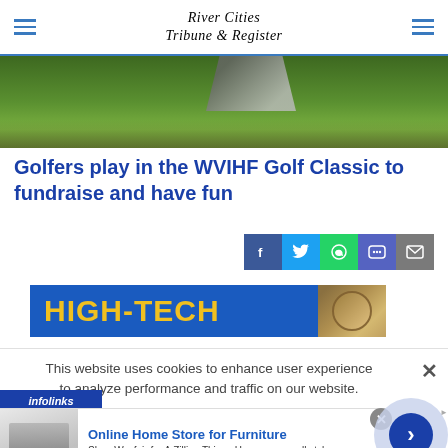River Cities Tribune & Register
[Figure (photo): Golf course green with feet/shoes visible at top, landscape photo]
Golfers play in the WVIHF Golf Classic to fundraise and have fun
[Figure (infographic): Social share buttons: Facebook, Twitter, WhatsApp, Messenger, Email]
[Figure (infographic): HIGH-TECH advertisement banner with blue background and gold text]
This website uses cookies to enhance user experience to analyze performance and traffic on our website.
[Figure (logo): infolinks logo bar]
[Figure (infographic): Wayfair advertisement: Online Home Store for Furniture - Shop Wayfair for A Zillion Things Home across all styles - www.wayfair.com]